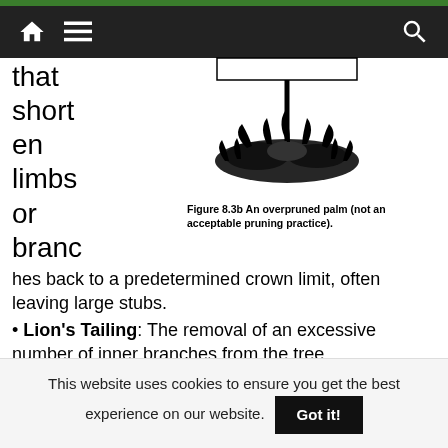Navigation bar with home, menu, and search icons
that shorten limbs or branches back to a predetermined crown limit, often leaving large stubs.
[Figure (illustration): An overpruned palm tree with sparse fronds at the top and a rectangular label/tag near the crown, surrounded by ground-level vegetation.]
Figure 8.3b  An overpruned palm (not an acceptable pruning practice).
Lion's Tailing: The removal of an excessive number of inner branches from the tree.
Rooster-Tailing: The over-thinning of palms by removing too many lower fronds. See image at left
This website uses cookies to ensure you get the best experience on our website.